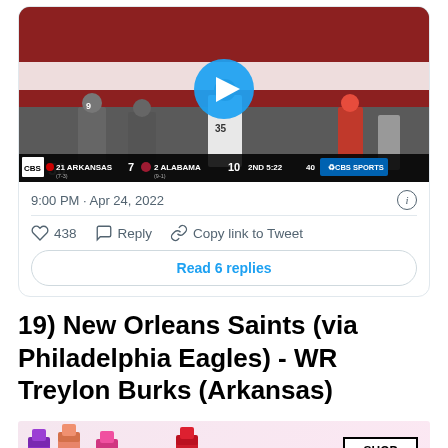[Figure (screenshot): Twitter/X embedded video thumbnail showing an Arkansas vs Alabama football game with CBS Sports scoreboard overlay. Score: 21 Arkansas 7, 2 Alabama 10, 2nd quarter 5:22, 40 seconds. Play button overlay in center.]
9:00 PM · Apr 24, 2022
438   Reply   Copy link to Tweet
Read 6 replies
19) New Orleans Saints (via Philadelphia Eagles) - WR Treylon Burks (Arkansas)
[Figure (photo): MAC cosmetics advertisement showing lipsticks in purple, pink, and red colors with SHOP NOW text box and M·A·C logo]
The S…ho is